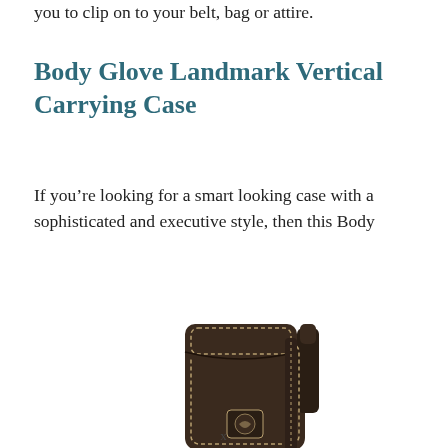you to clip on to your belt, bag or attire.
Body Glove Landmark Vertical Carrying Case
If you’re looking for a smart looking case with a sophisticated and executive style, then this Body
[Figure (photo): Photo of a dark brown leather vertical carrying case with stitched edges and a belt clip, showing the Body Glove Landmark product.]
x